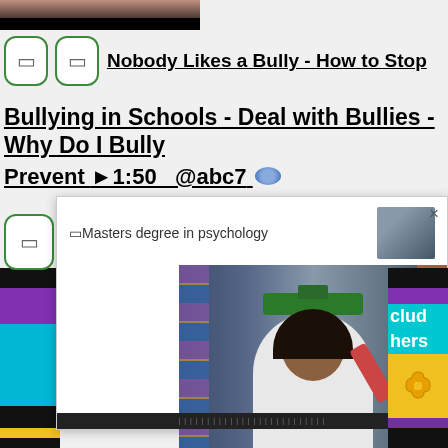[Figure (screenshot): Top portion of a video thumbnail showing a dark image]
Nobody Likes a Bully - How to Stop Bullying in Schools - Deal with Bullies - Why Do I Bully Prevent ▶1:50 @abc7
[Figure (screenshot): Popup overlay showing a woman in graduation cap and gown posing in a library, with text 'Masters degree in psychology' and a small thumbnail]
alkout
to pro
@you
clud
hers